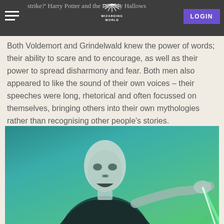strike?' Harry Potter and the Deathly Hallows
Both Voldemort and Grindelwald knew the power of words; their ability to scare and to encourage, as well as their power to spread disharmony and fear. Both men also appeared to like the sound of their own voices – their speeches were long, rhetorical and often focussed on themselves, bringing others into their own mythologies rather than recognising other people's stories.
[Figure (photo): Photo of Voldemort (bald, pale, noseless figure) casting a spell with a green/teal tinted color grade, appearing to shout while extending his hand forward with bright light emanating from it.]